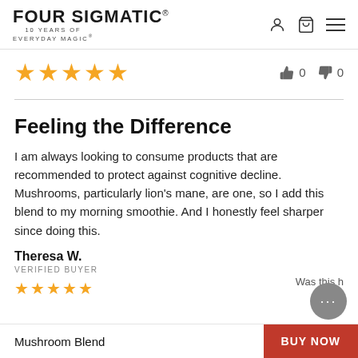[Figure (logo): Four Sigmatic logo with text '10 YEARS OF EVERYDAY MAGIC' below, and icons for user, cart, and menu on the right]
★★★★★  👍 0  👎 0
Feeling the Difference
I am always looking to consume products that are recommended to protect against cognitive decline. Mushrooms, particularly lion's mane, are one, so I add this blend to my morning smoothie. And I honestly feel sharper since doing this.
Theresa W.
VERIFIED BUYER
Was this h...?
Mushroom Blend  BUY NOW